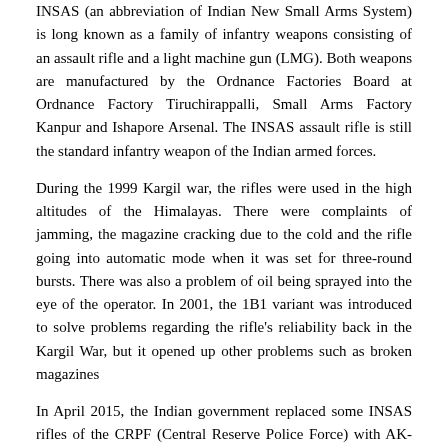INSAS (an abbreviation of Indian New Small Arms System) is long known as a family of infantry weapons consisting of an assault rifle and a light machine gun (LMG). Both weapons are manufactured by the Ordnance Factories Board at Ordnance Factory Tiruchirappalli, Small Arms Factory Kanpur and Ishapore Arsenal. The INSAS assault rifle is still the standard infantry weapon of the Indian armed forces.
During the 1999 Kargil war, the rifles were used in the high altitudes of the Himalayas. There were complaints of jamming, the magazine cracking due to the cold and the rifle going into automatic mode when it was set for three-round bursts. There was also a problem of oil being sprayed into the eye of the operator. In 2001, the 1B1 variant was introduced to solve problems regarding the rifle's reliability back in the Kargil War, but it opened up other problems such as broken magazines
In April 2015, the Indian government replaced some INSAS rifles of the CRPF (Central Reserve Police Force) with AK-47s. In early 2017, it was announced that INSAS rifles were to be retired and replaced by rifles capable of firing 7,62x51mm NATO cartridges. In fact “only” a significant part of the army should receive new rifles in 7.62mm, while many units will receive an improved version of the INSAS for non first line duties; the 1C still in 5.56mm a